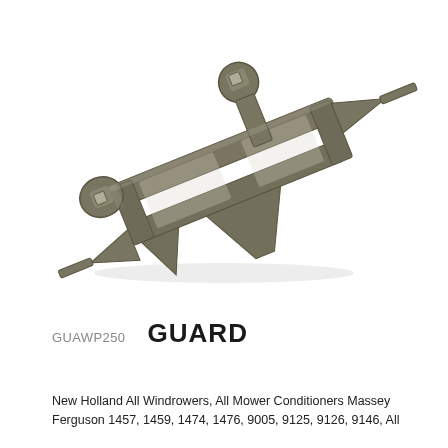[Figure (photo): A metal guard part (GUAWP250) shown at an angle against a white background. The part is a cast metal agricultural guard with two square-socket ends on loops at top-left and top-center, a rectangular open frame body, and pointed/winged projections extending to the sides and bottom. The metal surface is dark olive/bronze colored showing wear.]
GUAWP250   GUARD
New Holland All Windrowers, All Mower Conditioners Massey Ferguson 1457, 1459, 1474, 1476, 9005, 9125, 9126, 9146, All